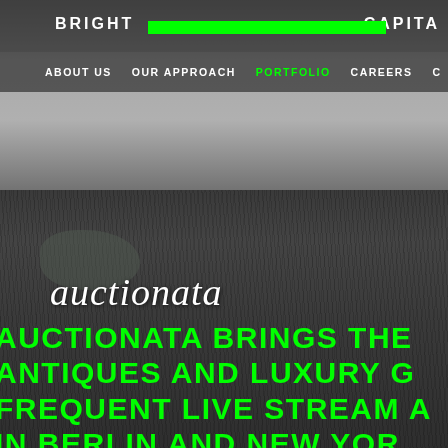[Figure (screenshot): Grayscale landscape photograph showing a field with grass and a cloudy sky, used as website background for Bright Capital portfolio page featuring Auctionata.]
BRIGHT [green bar] CAPITA
ABOUT US   OUR APPROACH   PORTFOLIO   CAREERS   C
auctionata
AUCTIONATA BRINGS THE ANTIQUES AND LUXURY G FREQUENT LIVE STREAM A IN BERLIN AND NEW YOR